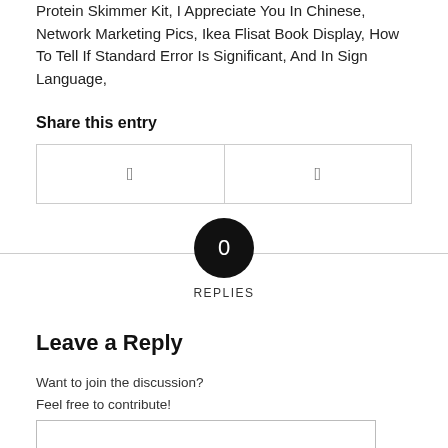Protein Skimmer Kit, I Appreciate You In Chinese, Network Marketing Pics, Ikea Flisat Book Display, How To Tell If Standard Error Is Significant, And In Sign Language,
Share this entry
0
REPLIES
Leave a Reply
Want to join the discussion?
Feel free to contribute!